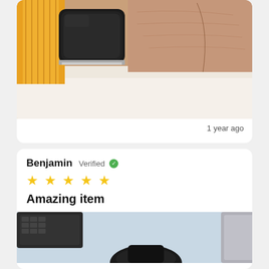[Figure (photo): Close-up photo of a smartwatch with yellow band and black case on a wrist, placed near white fabric]
1 year ago
Benjamin Verified ✓
★★★★★
Amazing item
[Figure (photo): Photo of a smartwatch with dark band on a blue surface next to a keyboard and laptop]